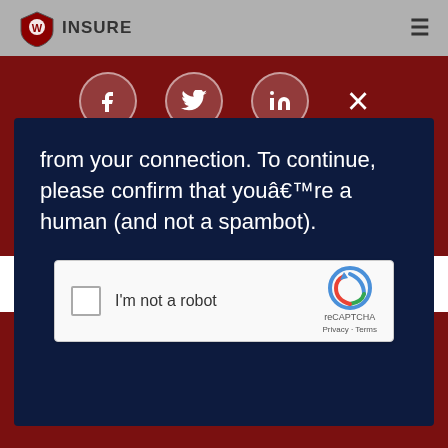[Figure (logo): We Insure logo with shield icon in top left nav bar]
[Figure (screenshot): Social media icons row: Facebook, Twitter, LinkedIn circles and an X close button on dark red background]
from your connection. To continue, please confirm that youâ€™re a human (and not a spambot).
[Figure (screenshot): reCAPTCHA widget showing checkbox, 'I'm not a robot' label, reCAPTCHA logo, Privacy and Terms links]
2022 All rights reserved We Insure Group Privacy Policy | Terms of use | Accessibility Statement | Sitemap